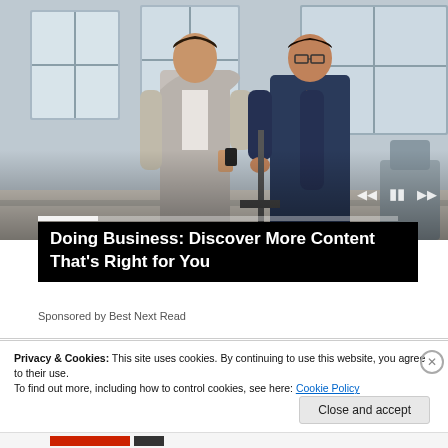[Figure (photo): Two businessmen in suits looking at a smartphone together in an office with large windows]
Doing Business: Discover More Content That's Right for You
Sponsored by Best Next Read
Privacy & Cookies: This site uses cookies. By continuing to use this website, you agree to their use.
To find out more, including how to control cookies, see here: Cookie Policy